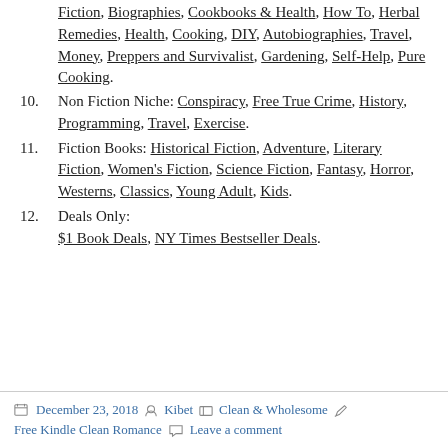Fiction, Biographies, Cookbooks & Health, How To, Herbal Remedies, Health, Cooking, DIY, Autobiographies, Travel, Money, Preppers and Survivalist, Gardening, Self-Help, Pure Cooking.
10. Non Fiction Niche: Conspiracy, Free True Crime, History, Programming, Travel, Exercise.
11. Fiction Books: Historical Fiction, Adventure, Literary Fiction, Women's Fiction, Science Fiction, Fantasy, Horror, Westerns, Classics, Young Adult, Kids.
12. Deals Only: $1 Book Deals, NY Times Bestseller Deals.
Posted December 23, 2018  Author Kibet  Categories Clean & Wholesome  Tags Free Kindle Clean Romance  Leave a comment